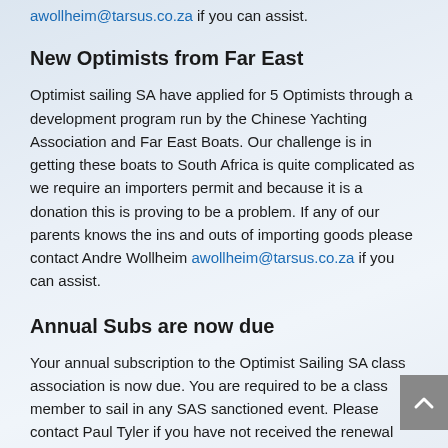awollheim@tarsus.co.za if you can assist.
New Optimists from Far East
Optimist sailing SA have applied for 5 Optimists through a development program run by the Chinese Yachting Association and Far East Boats. Our challenge is in getting these boats to South Africa is quite complicated as we require an importers permit and because it is a donation this is proving to be a problem. If any of our parents knows the ins and outs of importing goods please contact Andre Wollheim awollheim@tarsus.co.za if you can assist.
Annual Subs are now due
Your annual subscription to the Optimist Sailing SA class association is now due. You are required to be a class member to sail in any SAS sanctioned event. Please contact Paul Tyler if you have not received the renewal notice – paul@rmsshopfitting.co.za